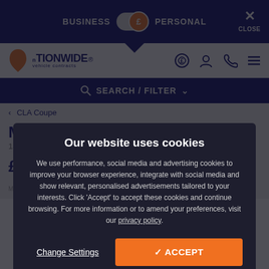BUSINESS £ PERSONAL CLOSE
[Figure (logo): Nationwide Vehicle Contracts logo with orange UK map icon]
SEARCH / FILTER
< CLA Coupe
Mercedes-Benz CLA Coupe
180 AMG Line
Our website uses cookies
We use performance, social media and advertising cookies to improve your browser experience, integrate with social media and show relevant, personalised advertisements tailored to your interests. Click 'Accept' to accept these cookies and continue browsing. For more information or to amend your preferences, visit our privacy policy.
£376.92
Change Settings
✓ ACCEPT